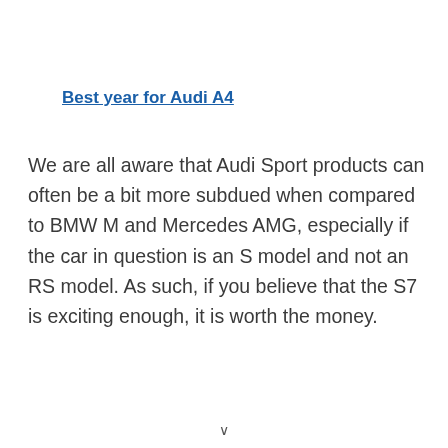Best year for Audi A4
We are all aware that Audi Sport products can often be a bit more subdued when compared to BMW M and Mercedes AMG, especially if the car in question is an S model and not an RS model. As such, if you believe that the S7 is exciting enough, it is worth the money.